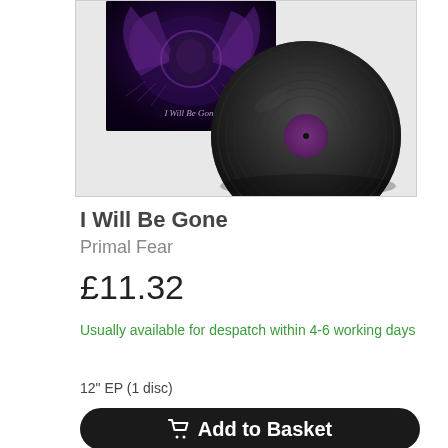[Figure (photo): Product image showing a vinyl record (black LP) with its album cover art featuring dark fantasy/metal artwork with a winged creature. Album title 'I Will Be Gone' visible on the cover.]
I Will Be Gone
Primal Fear
£11.32
Usually available for despatch within 4-6 working days
12" EP (1 disc)
Add to Basket